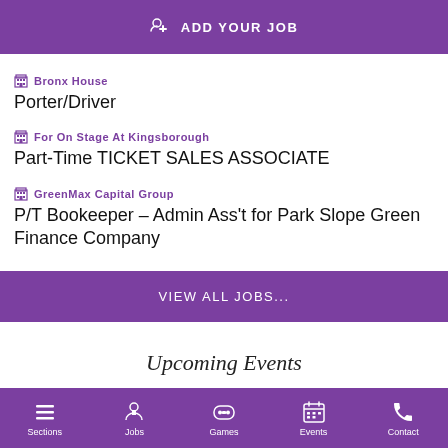ADD YOUR JOB
Bronx House
Porter/Driver
For On Stage At Kingsborough
Part-Time TICKET SALES ASSOCIATE
GreenMax Capital Group
P/T Bookeeper – Admin Ass't for Park Slope Green Finance Company
VIEW ALL JOBS...
Upcoming Events
Sections  Jobs  Games  Events  Contact